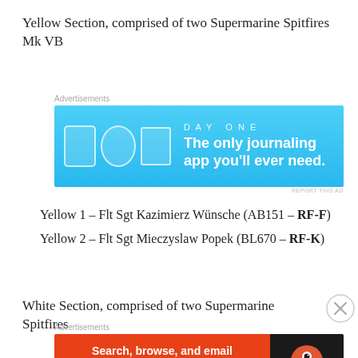Yellow Section, comprised of two Supermarine Spitfires Mk VB
[Figure (other): Day One journaling app advertisement banner with light blue background showing app icons and tagline 'The only journaling app you'll ever need.']
Yellow 1 – Flt Sgt Kazimierz Wünsche (AB151 – RF-F)
Yellow 2 – Flt Sgt Mieczyslaw Popek (BL670 – RF-K)
White Section, comprised of two Supermarine Spitfires
[Figure (other): DuckDuckGo advertisement: 'Search, browse, and email with more privacy. All in One Free App' with orange background and DuckDuckGo logo on dark background.]